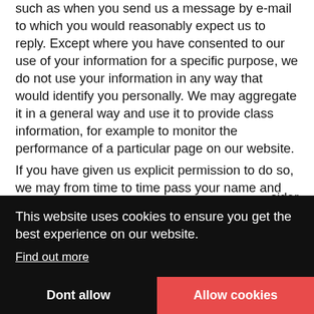such as when you send us a message by e-mail to which you would reasonably expect us to reply. Except where you have consented to our use of your information for a specific purpose, we do not use your information in any way that would identify you personally. We may aggregate it in a general way and use it to provide class information, for example to monitor the performance of a particular page on our website.
If you have given us explicit permission to do so, we may from time to time pass your name and contact information to organisations that we consider
You may withdraw your consent at any time by
This website uses cookies to ensure you get the best experience on our website.
Find out more
Dont allow
Allow cookies